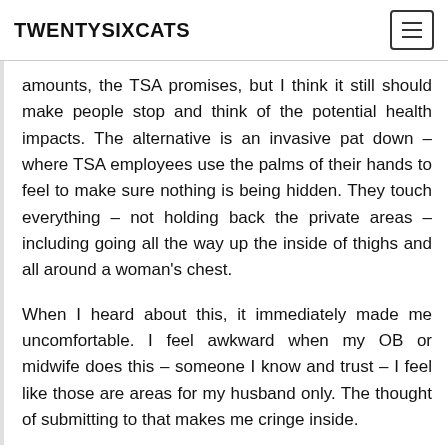TWENTYSIXCATS
amounts, the TSA promises, but I think it still should make people stop and think of the potential health impacts. The alternative is an invasive pat down – where TSA employees use the palms of their hands to feel to make sure nothing is being hidden. They touch everything – not holding back the private areas – including going all the way up the inside of thighs and all around a woman's chest.
When I heard about this, it immediately made me uncomfortable. I feel awkward when my OB or midwife does this – someone I know and trust – I feel like those are areas for my husband only. The thought of submitting to that makes me cringe inside.